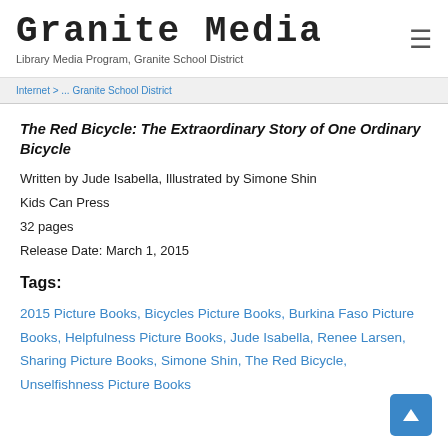Granite Media — Library Media Program, Granite School District
The Red Bicycle: The Extraordinary Story of One Ordinary Bicycle
Written by Jude Isabella, Illustrated by Simone Shin
Kids Can Press
32 pages
Release Date: March 1, 2015
Tags:
2015 Picture Books, Bicycles Picture Books, Burkina Faso Picture Books, Helpfulness Picture Books, Jude Isabella, Renee Larsen, Sharing Picture Books, Simone Shin, The Red Bicycle, Unselfishness Picture Books